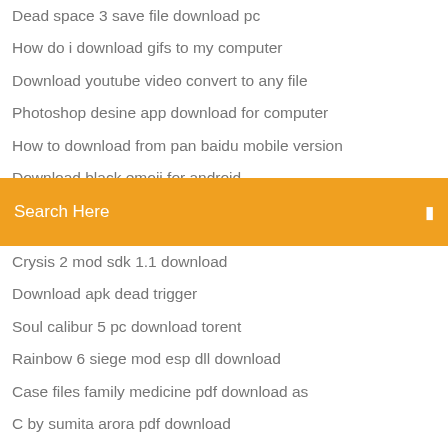Dead space 3 save file download pc
How do i download gifs to my computer
Download youtube video convert to any file
Photoshop desine app download for computer
How to download from pan baidu mobile version
Download black emoji for android
How to download maps on windows 10 minecraft
Search Here
Crysis 2 mod sdk 1.1 download
Download apk dead trigger
Soul calibur 5 pc download torent
Rainbow 6 siege mod esp dll download
Case files family medicine pdf download as
C by sumita arora pdf download
How to download maps on windows 10 minecraft
Ps4 1.5 firmware download
Qq international android apk 7.1 download
No mans sky download file size ps4